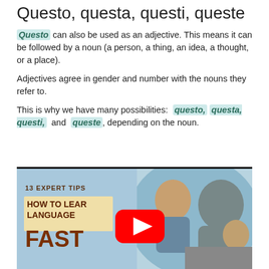Questo, questa, questi, queste
Questo can also be used as an adjective. This means it can be followed by a noun (a person, a thing, an idea, a thought, or a place).
Adjectives agree in gender and number with the nouns they refer to.
This is why we have many possibilities: questo, questa, questi, and queste, depending on the noun.
[Figure (screenshot): YouTube video thumbnail showing '13 EXPERT TIPS HOW TO LEARN LANGUAGE FAST' with a YouTube play button and people talking in the background]